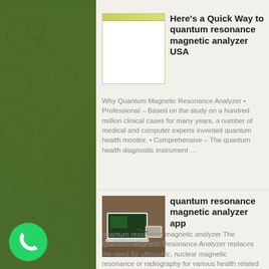Here's a Quick Way to quantum resonance magnetic analyzer USA
Why Quantum Magnetic Resonance Analyzer • Professional – Based on the study on a hundred million clinical cases for many years, a number of medical and computer experts invented quantum health monitor. • Comprehensive – The quantum health diagnostic instrument …
[Figure (screenshot): Blank white image with a light yellow-green title bar at the top, representing a software window screenshot placeholder]
quantum resonance magnetic analyzer app
quantum resonance magnetic analyzer The Quantum Magnetic Resonance Analyzer replaces the need for ultrasonic, nuclear magnetic resonance or radiography for various health related conditions. Holding
[Figure (photo): Photo of a small white laptop computer connected to a quantum resonance magnetic analyzer device on a wooden table]
[Figure (logo): WhatsApp logo: green circle with white phone handset icon]